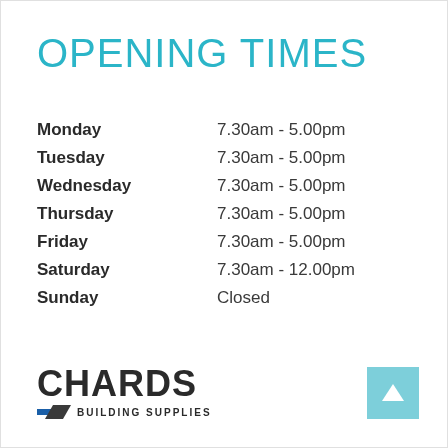OPENING TIMES
| Day | Hours |
| --- | --- |
| Monday | 7.30am - 5.00pm |
| Tuesday | 7.30am - 5.00pm |
| Wednesday | 7.30am - 5.00pm |
| Thursday | 7.30am - 5.00pm |
| Friday | 7.30am - 5.00pm |
| Saturday | 7.30am - 12.00pm |
| Sunday | Closed |
[Figure (logo): Chards Building Supplies logo with blue and grey diagonal stripes]
[Figure (other): Light blue square with white upward arrow]